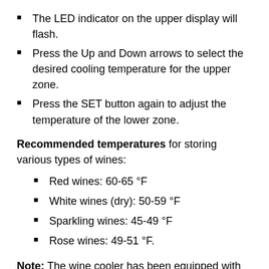The LED indicator on the upper display will flash.
Press the Up and Down arrows to select the desired cooling temperature for the upper zone.
Press the SET button again to adjust the temperature of the lower zone.
Recommended temperatures for storing various types of wines:
Red wines: 60-65 °F
White wines (dry): 50-59 °F
Sparkling wines: 45-49 °F
Rose wines: 49-51 °F.
Note: The wine cooler has been equipped with an "automatic" control panel lock that will activate 12